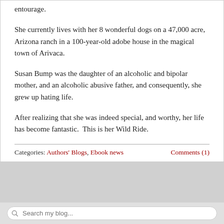entourage.
She currently lives with her 8 wonderful dogs on a 47,000 acre, Arizona ranch in a 100-year-old adobe house in the magical town of Arivaca.
Susan Bump was the daughter of an alcoholic and bipolar mother, and an alcoholic abusive father, and consequently, she grew up hating life.
After realizing that she was indeed special, and worthy, her life has become fantastic.  This is her Wild Ride.
Categories: Authors' Blogs, Ebook news    Comments (1)
Search my blog...